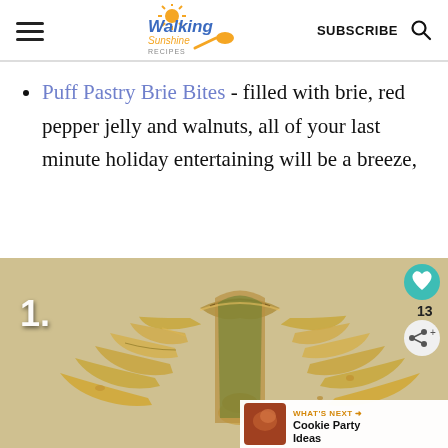Walking Sunshine Recipes | SUBSCRIBE
Puff Pastry Brie Bites - filled with brie, red pepper jelly and walnuts, all of your last minute holiday entertaining will be a breeze,
[Figure (photo): Photo of a baked puff pastry Christmas tree shape on parchment paper, with golden-brown twisted pastry branches filled with green herb filling. Number '1.' overlay in white at top left. Heart icon button with count 13 and share icon button on right side. 'WHAT'S NEXT → Cookie Party Ideas' banner at bottom right.]